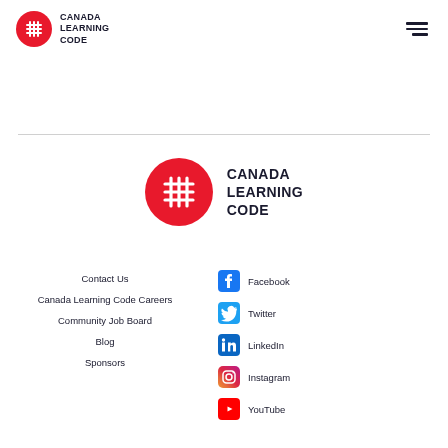[Figure (logo): Canada Learning Code logo in header — red circle with white hash/grid icon, text CANADA LEARNING CODE in bold dark]
[Figure (logo): Hamburger menu icon (three horizontal lines) in top right of header]
[Figure (logo): Canada Learning Code logo centered — larger red circle with white hash/grid icon, text CANADA LEARNING CODE in bold dark]
Contact Us
Canada Learning Code Careers
Community Job Board
Blog
Sponsors
Facebook
Twitter
LinkedIn
Instagram
YouTube